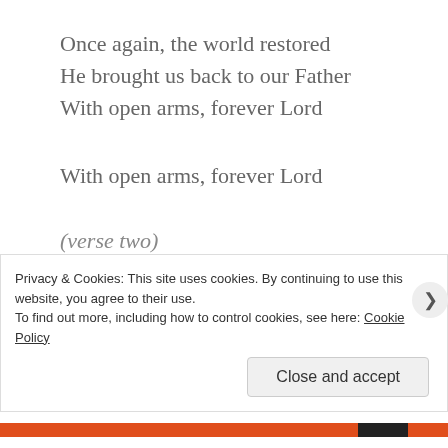Once again, the world restored
He brought us back to our Father
With open arms, forever Lord
With open arms, forever Lord
(verse two)
Three days passed, all hope was lost
Disciples in hiding, fear of the crowd
Knowing their Jesus had to pay the cost
With the blood of a lamb, soaking the ground
Privacy & Cookies: This site uses cookies. By continuing to use this website, you agree to their use.
To find out more, including how to control cookies, see here: Cookie Policy
Close and accept